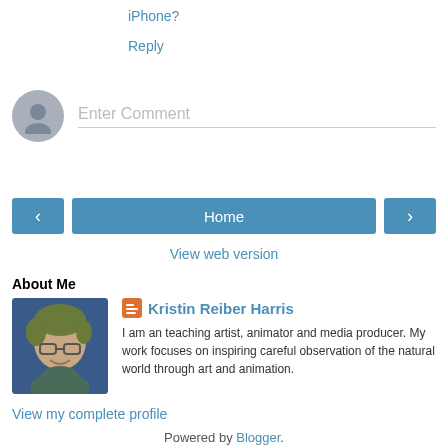iPhone?
Reply
[Figure (other): Comment input area with avatar placeholder and Enter Comment text field]
[Figure (other): Navigation buttons: left arrow, Home, right arrow]
View web version
About Me
[Figure (photo): Profile photo of Kristin Reiber Harris, a woman with short hair and glasses]
Kristin Reiber Harris
I am an teaching artist, animator and media producer. My work focuses on inspiring careful observation of the natural world through art and animation.
View my complete profile
Powered by Blogger.